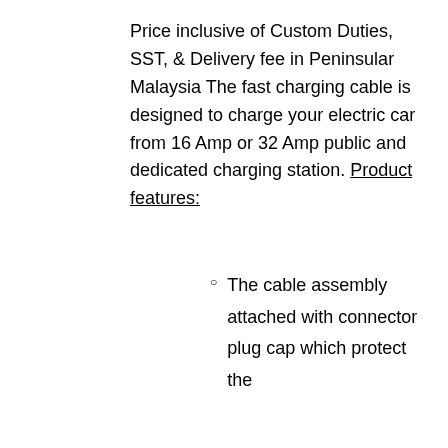Price inclusive of Custom Duties, SST, & Delivery fee in Peninsular Malaysia The fast charging cable is designed to charge your electric car from 16 Amp or 32 Amp public and dedicated charging station. Product features:
The cable assembly attached with connector plug cap which protect the